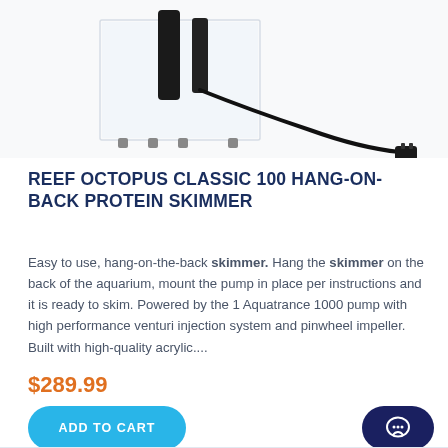[Figure (photo): Product photo of the Reef Octopus Classic 100 Hang-On-Back Protein Skimmer, showing a clear acrylic body with black pump components and a power cord with plug, partially cropped at the top of the page.]
REEF OCTOPUS CLASSIC 100 HANG-ON-BACK PROTEIN SKIMMER
Easy to use, hang-on-the-back skimmer. Hang the skimmer on the back of the aquarium, mount the pump in place per instructions and it is ready to skim. Powered by the 1 Aquatrance 1000 pump with high performance venturi injection system and pinwheel impeller. Built with high-quality acrylic....
$289.99